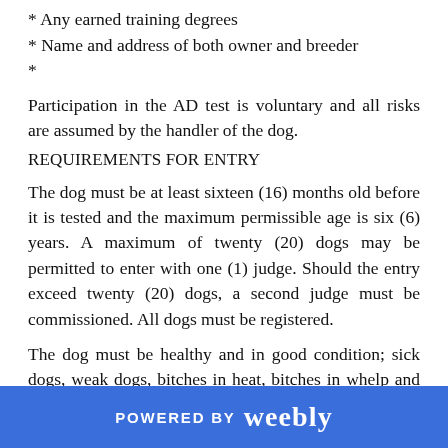* Any earned training degrees
* Name and address of both owner and breeder
*
Participation in the AD test is voluntary and all risks are assumed by the handler of the dog.
REQUIREMENTS FOR ENTRY
The dog must be at least sixteen (16) months old before it is tested and the maximum permissible age is six (6) years. A maximum of twenty (20) dogs may be permitted to enter with one (1) judge. Should the entry exceed twenty (20) dogs, a second judge must be commissioned. All dogs must be registered.
The dog must be healthy and in good condition; sick dogs, weak dogs, bitches in heat, bitches in whelp and nursing bitches are not allowed to participate.
POWERED BY weebly